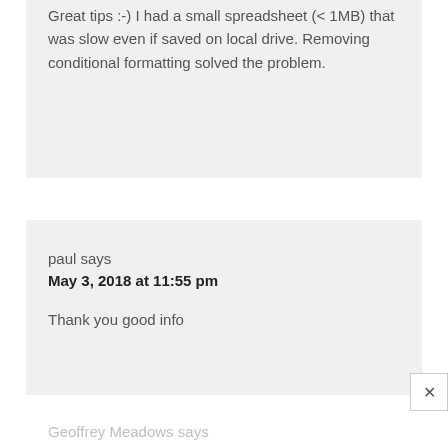Great tips :-) I had a small spreadsheet (< 1MB) that was slow even if saved on local drive. Removing conditional formatting solved the problem.
paul says
May 3, 2018 at 11:55 pm
Thank you good info
Geoffrey Meadows says